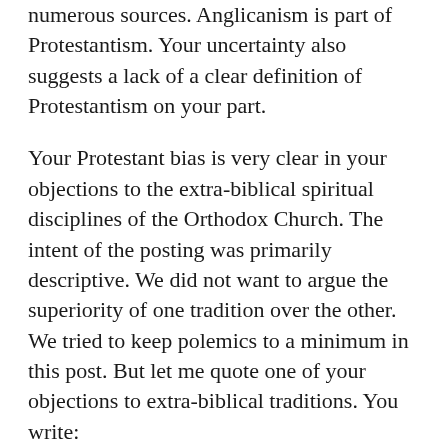numerous sources. Anglicanism is part of Protestantism. Your uncertainty also suggests a lack of a clear definition of Protestantism on your part.
Your Protestant bias is very clear in your objections to the extra-biblical spiritual disciplines of the Orthodox Church. The intent of the posting was primarily descriptive. We did not want to argue the superiority of one tradition over the other. We tried to keep polemics to a minimum in this post. But let me quote one of your objections to extra-biblical traditions. You write:
How is this possible if we NEED all this Special Orthodox Tradition?
And,
What I'm denying is the assertion often made here that